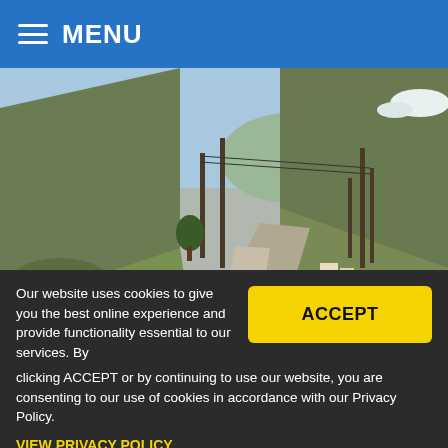MENU
[Figure (photo): A gravel trail winding through a canyon landscape with green shrubs, hillsides, and utility poles. Approaching Logan Canyon above Logan Country Club.]
Approaching Logan Canyon above Logan Country Club
Our website uses cookies to give you the best online experience and provide functionality essential to our services. By clicking ACCEPT or by continuing to use our website, you are consenting to our use of cookies in accordance with our Privacy Policy.
VIEW PRIVACY POLICY